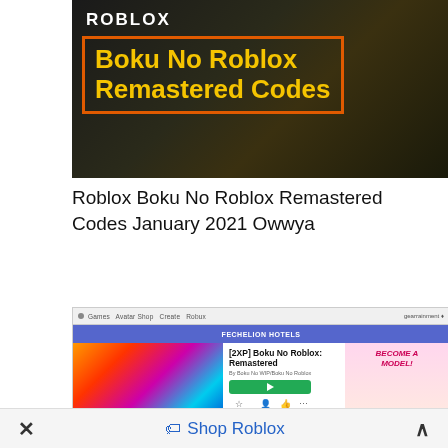[Figure (screenshot): Thumbnail image with dark background showing 'ROBLOX' text in white and 'Boku No Roblox Remastered Codes' in bold yellow text inside an orange border box]
Roblox Boku No Roblox Remastered Codes January 2021 Owwya
[Figure (screenshot): Screenshot of the Roblox website showing the game page for '[2XP] Boku No Roblox: Remastered' by Boku No WIP/Boku No Roblox, with game cover art, a green Play button, and a 'Become a Model!' advertisement banner on the right]
Shop Roblox